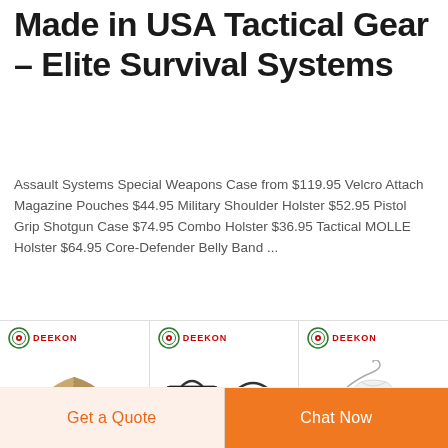Made in USA Tactical Gear – Elite Survival Systems
Assault Systems Special Weapons Case from $119.95 Velcro Attach Magazine Pouches $44.95 Military Shoulder Holster $52.95 Pistol Grip Shotgun Case $74.95 Combo Holster $36.95 Tactical MOLLE Holster $64.95 Core-Defender Belly Band ...
[Figure (photo): Three product images with DEEKON logo: a tan/khaki tactical tent on the left, two black briefcase/bags in the center, and a white vest on a hanger on the right]
Get a Quote
Chat Now